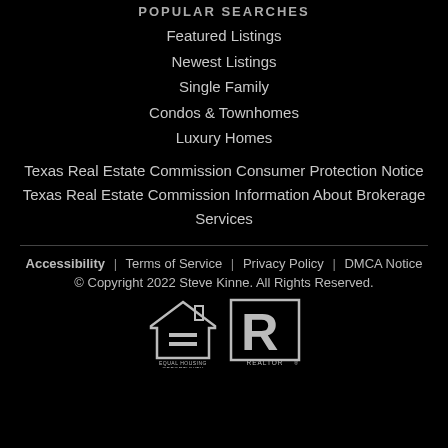POPULAR SEARCHES
Featured Listings
Newest Listings
Single Family
Condos & Townhomes
Luxury Homes
Texas Real Estate Commission Consumer Protection Notice
Texas Real Estate Commission Information About Brokerage Services
Accessibility | Terms of Service | Privacy Policy | DMCA Notice
© Copyright 2022 Steve Kinne. All Rights Reserved.
[Figure (logo): Equal Housing Opportunity logo and REALTOR logo side by side]